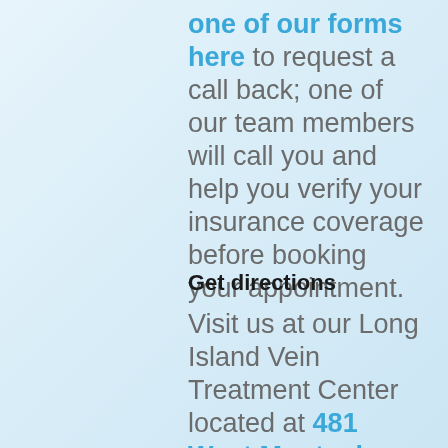one of our forms here to request a call back; one of our team members will call you and help you verify your insurance coverage before booking your appointment.
Get directions
Visit us at our Long Island Vein Treatment Center located at 481 West Montauk Highway.